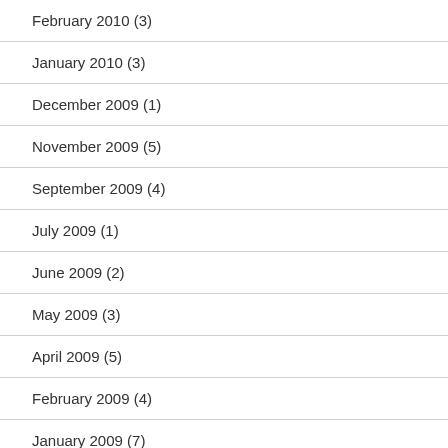February 2010 (3)
January 2010 (3)
December 2009 (1)
November 2009 (5)
September 2009 (4)
July 2009 (1)
June 2009 (2)
May 2009 (3)
April 2009 (5)
February 2009 (4)
January 2009 (7)